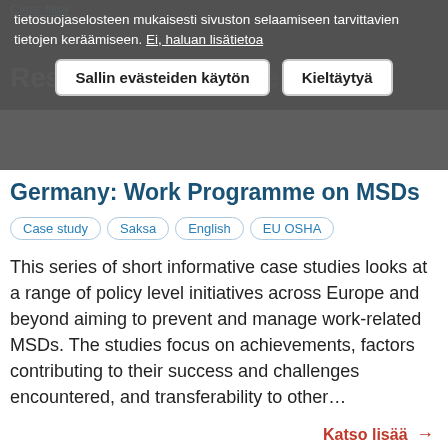tietosuojaselosteen mukaisesti sivuston selaamiseen tarvittavien tietojen keräämiseen. Ei, haluan lisätietoa
Sallin evästeiden käytön   Kieltäytyä
Germany: Work Programme on MSDs
Case study
Saksa
English
EU OSHA
This series of short informative case studies looks at a range of policy level initiatives across Europe and beyond aiming to prevent and manage work-related MSDs. The studies focus on achievements, factors contributing to their success and challenges encountered, and transferability to other…
Katso lisää →
Exposure to hand-arm vibration